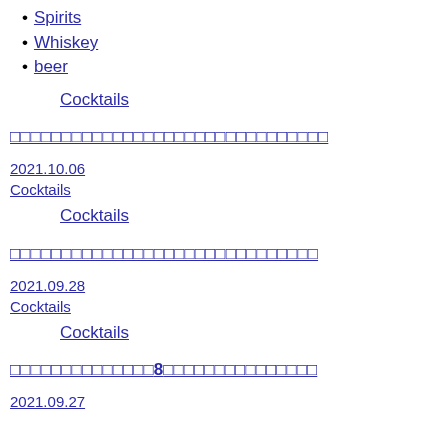Spirits
Whiskey
beer
Cocktails
□□□□□□□□□□□□□□□□□□□□□□□□□□□□□□□
2021.10.06
Cocktails
Cocktails
□□□□□□□□□□□□□□□□□□□□□□□□□□□□□□
2021.09.28
Cocktails
Cocktails
□□□□□□□□□□□□□□8□□□□□□□□□□□□□□□
2021.09.27